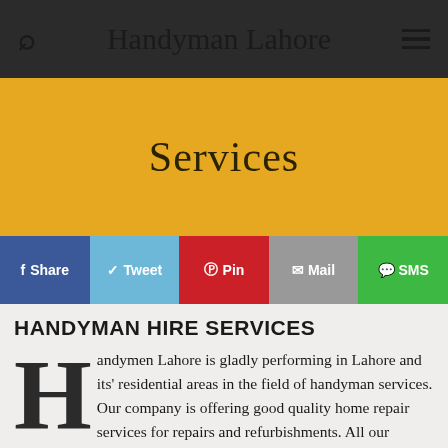Handyman Lahore
Services
Share  Tweet  Pin  Mail  SMS
HANDYMAN HIRE SERVICES
Handymen Lahore is gladly performing in Lahore and its' residential areas in the field of handyman services. Our company is offering good quality home repair services for repairs and refurbishments. All our